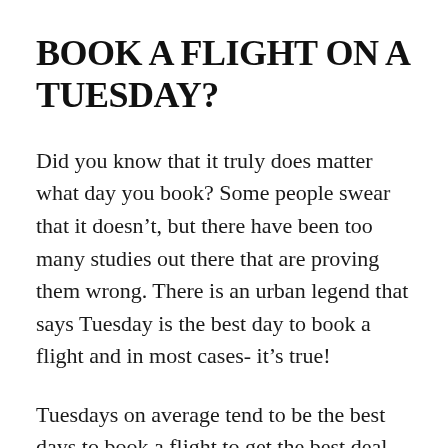BOOK A FLIGHT ON A TUESDAY?
Did you know that it truly does matter what day you book? Some people swear that it doesn’t, but there have been too many studies out there that are proving them wrong. There is an urban legend that says Tuesday is the best day to book a flight and in most cases- it’s true!
Tuesdays on average tend to be the best days to book a flight to get the best deal possible. Just by waiting to book on a